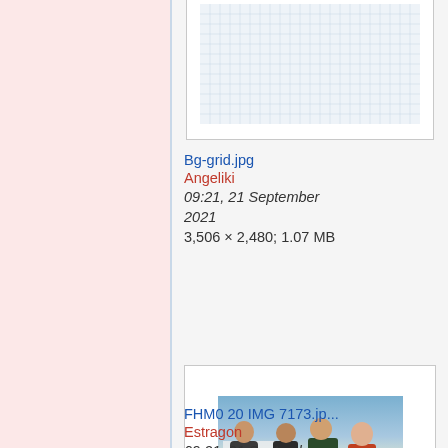[Figure (other): Thumbnail of Bg-grid.jpg — a white/light blue grid paper image]
Bg-grid.jpg
Angeliki
09:21, 21 September 2021
3,506 × 2,480; 1.07 MB
[Figure (photo): Thumbnail of FHM0 20 IMG 7173.jp... — people sitting around a table in a bright room]
FHM0 20 IMG 7173.jp...
Estragon
09:21, 21 September